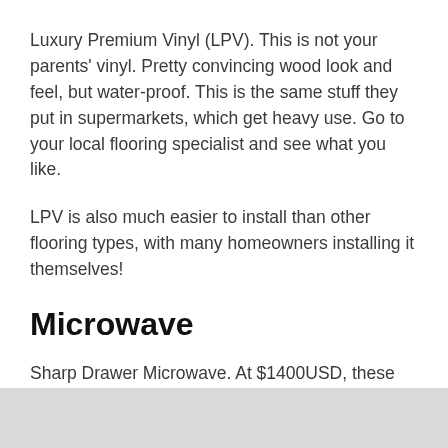Luxury Premium Vinyl (LPV). This is not your parents' vinyl. Pretty convincing wood look and feel, but water-proof. This is the same stuff they put in supermarkets, which get heavy use. Go to your local flooring specialist and see what you like.
LPV is also much easier to install than other flooring types, with many homeowners installing it themselves!
Microwave
Sharp Drawer Microwave. At $1400USD, these are ridiculously expensive, but they're a way of not sacrificing countertop to an appliance, and making it a convenient to